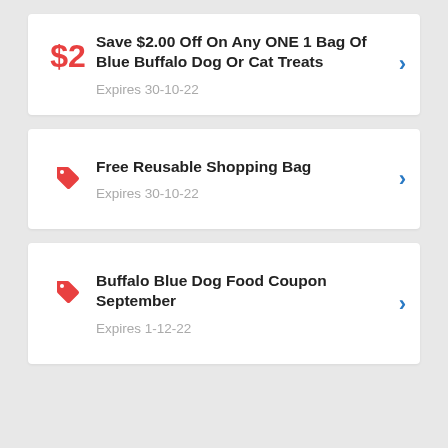Save $2.00 Off On Any ONE 1 Bag Of Blue Buffalo Dog Or Cat Treats — Expires 30-10-22
Free Reusable Shopping Bag — Expires 30-10-22
Buffalo Blue Dog Food Coupon September — Expires 1-12-22